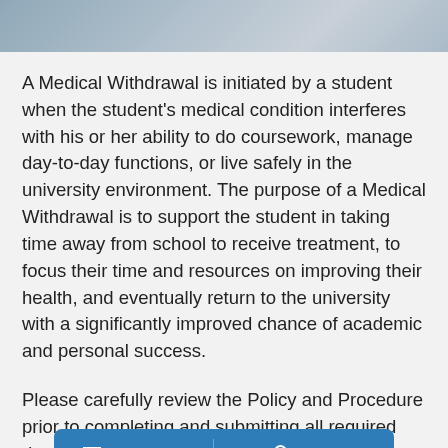[Figure (photo): Photo banner at top of page showing students or university-related imagery]
A Medical Withdrawal is initiated by a student when the student's medical condition interferes with his or her ability to do coursework, manage day-to-day functions, or live safely in the university environment. The purpose of a Medical Withdrawal is to support the student in taking time away from school to receive treatment, to focus their time and resources on improving their health, and eventually return to the university with a significantly improved chance of academic and personal success.
Please carefully review the Policy and Procedure prior to completing and submitting all required documents. You must submit a completed